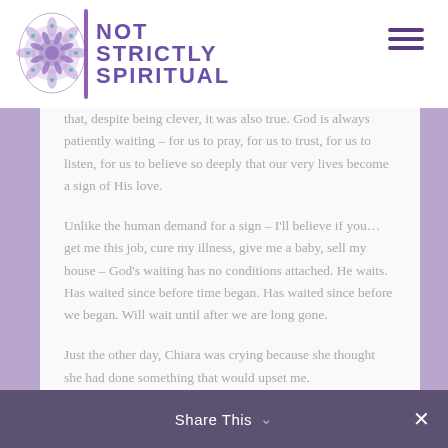NOT STRICTLY SPIRITUAL
that, despite being clever, it was also true. God is always patiently waiting – for us to pray, for us to trust, for us to listen, for us to believe so deeply that our very lives become a sign of His love.
Unlike the human demand for a sign – I'll believe if you…get me this job, cure my illness, give me a baby, sell my house – God's waiting has no conditions attached. He waits. Has waited since before time began. Has waited since before we began. Will wait until after we are long gone.
Just the other day, Chiara was crying because she thought she had done something that would upset me.